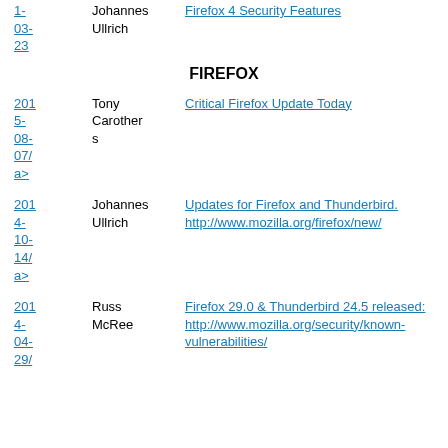| Date | Author | Link |
| --- | --- | --- |
| 2011-03-23 | Johannes Ullrich | Firefox 4 Security Features |
| 2015-08-07/a> | Tony Carothers | Critical Firefox Update Today |
| 2014-10-14/a> | Johannes Ullrich | Updates for Firefox and Thunderbird. http://www.mozilla.org/firefox/new/ |
| 2014-04-29/ | Russ McRee | Firefox 29.0 & Thunderbird 24.5 released: http://www.mozilla.org/security/known-vulnerabilities/ |
FIREFOX